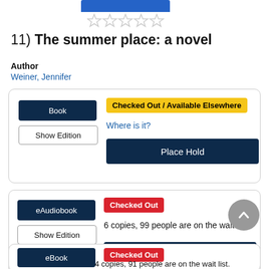[Figure (illustration): Partial blue book cover image at the top]
[Figure (illustration): Five empty/unfilled star rating icons]
11) The summer place: a novel
Author
Weiner, Jennifer
Book | Checked Out / Available Elsewhere | Where is it? | Place Hold
eAudiobook | Checked Out | 6 copies, 99 people are on the wait list. | Place Hold OverDrive/Libby | Preview From the book
eBook | Checked Out | 4 copies, 91 people are on the wait list.